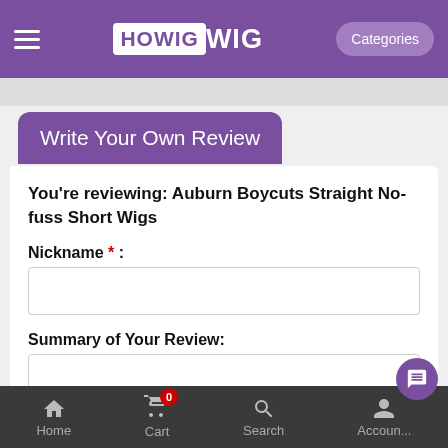HOWIG
Write Your Own Review
You're reviewing: Auburn Boycuts Straight No-fuss Short Wigs
Nickname * :
Summary of Your Review:
Email:(Not required fields,but your Email will be used to help solve your questions and won't be shared for commercial use.)
Home  Cart 0  Search  Account